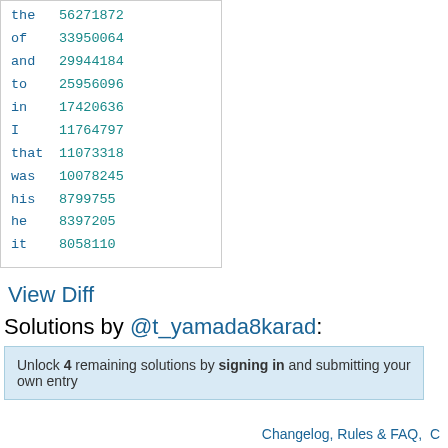| word | count |
| --- | --- |
| the | 56271872 |
| of | 33950064 |
| and | 29944184 |
| to | 25956096 |
| in | 17420636 |
| I | 11764797 |
| that | 11073318 |
| was | 10078245 |
| his | 8799755 |
| he | 8397205 |
| it | 8058110 |
View Diff
Solutions by @t_yamada8karad:
Unlock 4 remaining solutions by signing in and submitting your own entry
Changelog, Rules & FAQ,